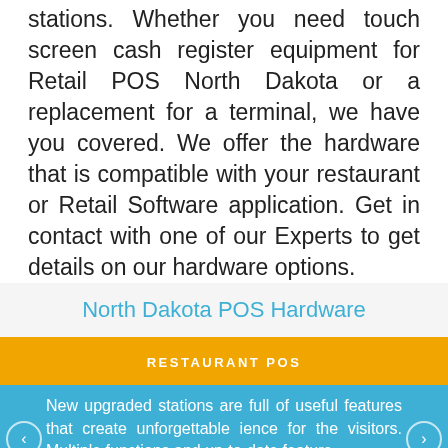stations. Whether you need touch screen cash register equipment for Retail POS North Dakota or a replacement for a terminal, we have you covered. We offer the hardware that is compatible with your restaurant or Retail Software application. Get in contact with one of our Experts to get details on our hardware options.
North Dakota POS Hardware
RESTAURANT POS
New upgraded stations are full of useful features that create unforgettable ience for the visitors. Multiple functions and up-to-date feature